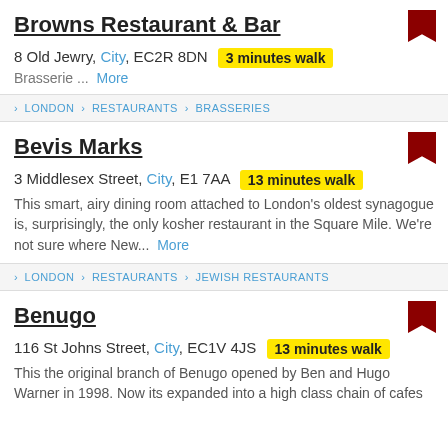Browns Restaurant & Bar
8 Old Jewry, City, EC2R 8DN  3 minutes walk
Brasserie ...  More
> LONDON > RESTAURANTS > BRASSERIES
Bevis Marks
3 Middlesex Street, City, E1 7AA  13 minutes walk
This smart, airy dining room attached to London's oldest synagogue is, surprisingly, the only kosher restaurant in the Square Mile. We're not sure where New...  More
> LONDON > RESTAURANTS > JEWISH RESTAURANTS
Benugo
116 St Johns Street, City, EC1V 4JS  13 minutes walk
This the original branch of Benugo opened by Ben and Hugo Warner in 1998. Now its expanded into a high class chain of cafes